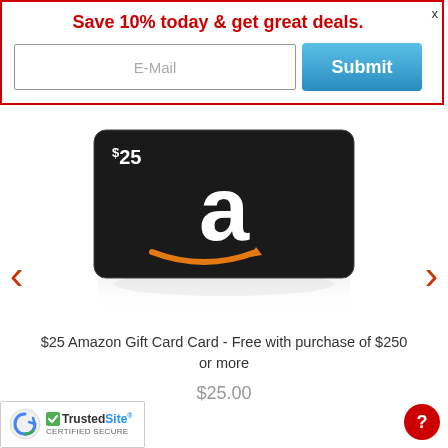Save 10% today & get great deals.
E-Mail
Submit
[Figure (illustration): Amazon $25 gift card with black background, white Amazon 'a' logo with orange smile arrow, and '$25' text in upper left. Card shown with reflection below. Left and right navigation arrows on sides.]
$25 Amazon Gift Card Card - Free with purchase of $250 or more
$25.00
[Figure (logo): TrustedSite certified secure badge with blue shield checkmark logo]